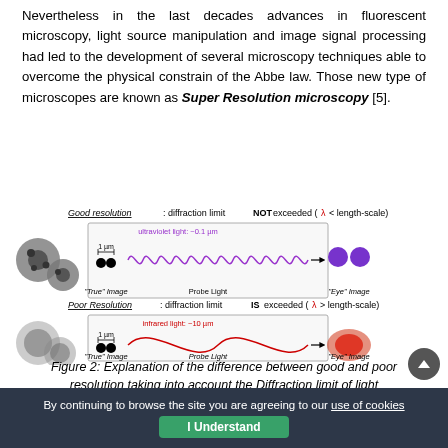Nevertheless in the last decades advances in fluorescent microscopy, light source manipulation and image signal processing had led to the development of several microscopy techniques able to overcome the physical constrain of the Abbe law. Those new type of microscopes are known as Super Resolution microscopy [5].
[Figure (illustration): Two-panel illustration showing Good resolution (diffraction limit NOT exceeded, lambda < length-scale) with ultraviolet light ~0.1 µm showing two separated dots resolved clearly, and Poor Resolution (diffraction limit IS exceeded, lambda > length-scale) with infrared light ~10 µm showing two dots merged into one blurry blob.]
Figure 2: Explanation of the difference between good and poor resolution taking into account the Diffraction limit of light
By continuing to browse the site you are agreeing to our use of cookies